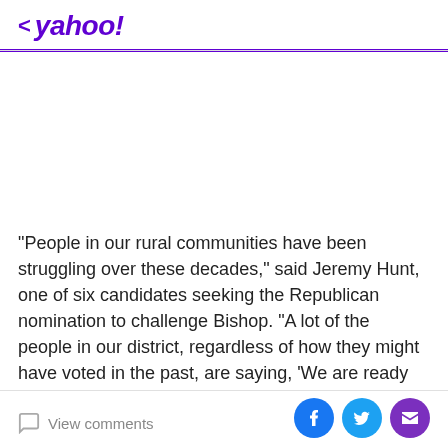< yahoo!
“People in our rural communities have been struggling over these decades,” said Jeremy Hunt, one of six candidates seeking the Republican nomination to challenge Bishop. “A lot of the people in our district, regardless of how they might have voted in the past, are saying, ‘We are ready for something new.’”
View comments